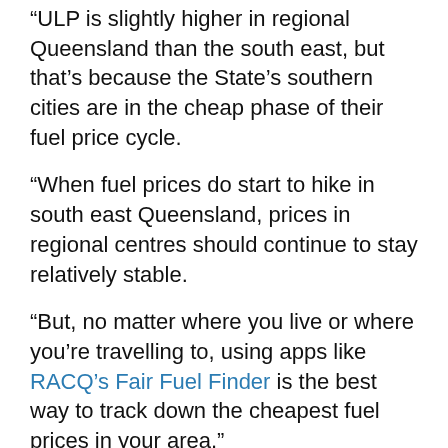“ULP is slightly higher in regional Queensland than the south east, but that’s because the State’s southern cities are in the cheap phase of their fuel price cycle.
“When fuel prices do start to hike in south east Queensland, prices in regional centres should continue to stay relatively stable.
“But, no matter where you live or where you’re travelling to, using apps like RACQ’s Fair Fuel Finder is the best way to track down the cheapest fuel prices in your area.”
| Location | Average price of Unleaded | Record price of Unleaded |
| --- | --- | --- |
| Cairns | 163.7cpl | 167.1cpl (observed |